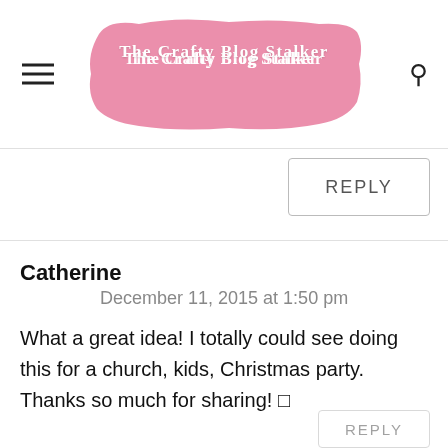The Crafty Blog Stalker
REPLY
Catherine
December 11, 2015 at 1:50 pm
What a great idea! I totally could see doing this for a church, kids, Christmas party. Thanks so much for sharing! 🙂
REPLY